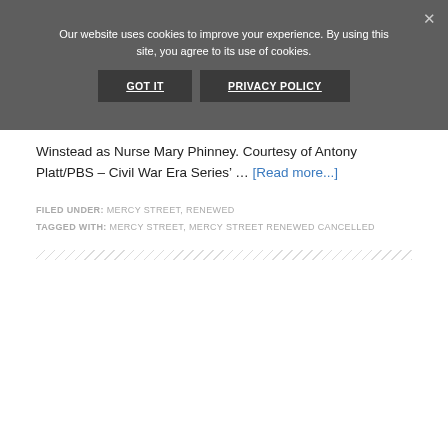Our website uses cookies to improve your experience. By using this site, you agree to its use of cookies.
GOT IT | PRIVACY POLICY
Winstead as Nurse Mary Phinney. Courtesy of Antony Platt/PBS – Civil War Era Series’ … [Read more...]
FILED UNDER: MERCY STREET, RENEWED
TAGGED WITH: MERCY STREET, MERCY STREET RENEWED CANCELLED